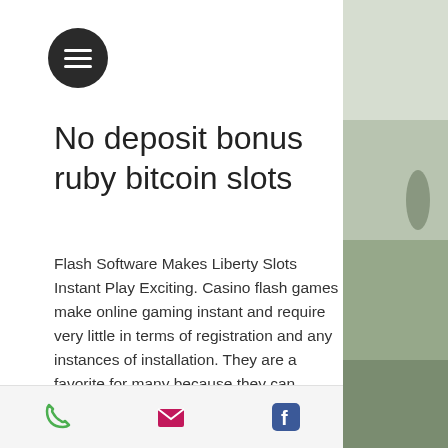[Figure (other): Circular dark hamburger menu button with three white horizontal lines]
No deposit bonus ruby bitcoin slots
Flash Software Makes Liberty Slots Instant Play Exciting. Casino flash games make online gaming instant and require very little in terms of registration and any instances of installation. They are a favorite for many because they can effortlessly let you play plenty of slot machines, and all you need is a browser and some internet connection. You can enjoy liberty slots casino flash games today without any requirements for third party software to keep your gaming safe and
Phone | Email | Facebook icons
[Figure (photo): Muted greenish-gray background photo of a field with grass, occupying the right portion of the page]